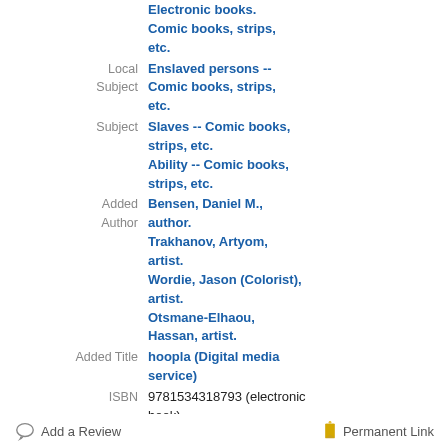Genre/Form: Electronic books. Comic books, strips, etc.
Local Subject: Enslaved persons -- Comic books, strips, etc.
Subject: Slaves -- Comic books, strips, etc. Ability -- Comic books, strips, etc.
Added Author: Bensen, Daniel M., author. Trakhanov, Artyom, artist. Wordie, Jason (Colorist), artist. Otsmane-Elhaou, Hassan, artist.
Added Title: hoopla (Digital media service)
ISBN: 9781534318793 (electronic book) 1534318798 (electronic book)
Music No.: MWT13623602
-->
Add a Review
Permanent Link